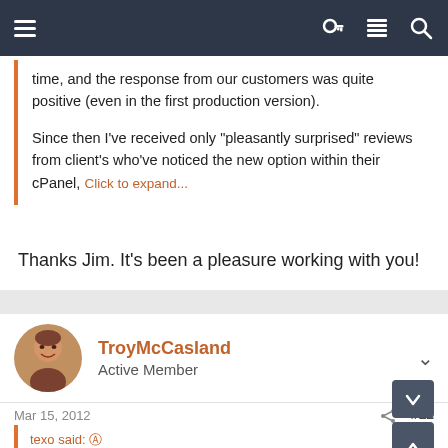Navigation bar with hamburger menu, key icon, list icon, search icon
time, and the response from our customers was quite positive (even in the first production version).

Since then I've received only "pleasantly surprised" reviews from client's who've noticed the new option within their cPanel, Click to expand...
Thanks Jim. It's been a pleasure working with you!
TroyMcCasland
Active Member
Mar 15, 2012
#12
texo said:
I think that this is absolute nonsense. It should be left off by default. I have no idea why you're spending time bundling third-party products. Have any of your users ever asked for this?